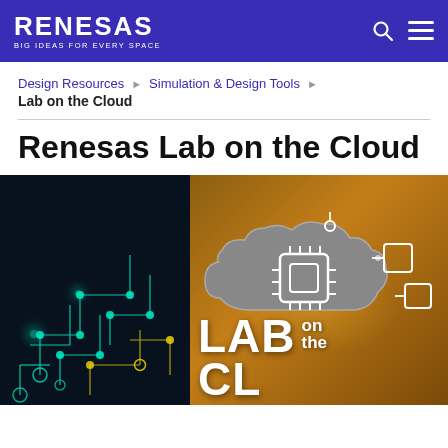RENESAS — BIG IDEAS FOR EVERY SPACE
Design Resources ▶ Simulation & Design Tools ▶ Lab on the Cloud
Renesas Lab on the Cloud
[Figure (photo): Split hero image: left half shows a dark circuit board with glowing teal/yellow circuit traces; right half shows a golden/amber background with a gray cloud icon containing chip/circuit imagery and the text 'LAB on the CLOUD' in white letters.]